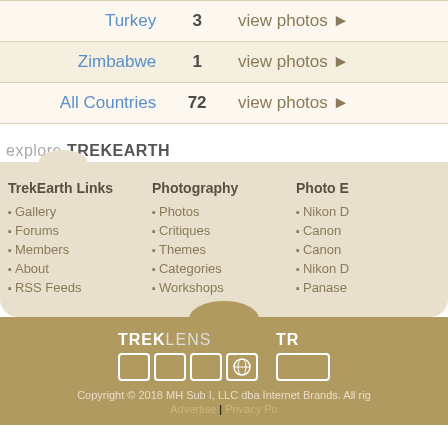| Country | Count | Action |
| --- | --- | --- |
| Turkey | 3 | view photos ▶ |
| Zimbabwe | 1 | view photos ▶ |
| All Countries | 72 | view photos ▶ |
explore TREKEARTH
TrekEarth Links
Gallery
Forums
Members
About
RSS Feeds
Photography
Photos
Critiques
Themes
Categories
Workshops
Photo E
Nikon D
Canon
Canon
Nikon D
Panase
Copyright © 2018 MH Sub I, LLC dba Internet Brands. All rig Advertise | Privacy Po